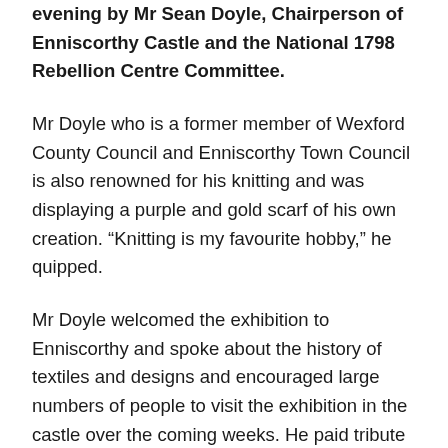evening by Mr Sean Doyle, Chairperson of Enniscorthy Castle and the National 1798 Rebellion Centre Committee.
Mr Doyle who is a former member of Wexford County Council and Enniscorthy Town Council is also renowned for his knitting and was displaying a purple and gold scarf of his own creation. “Knitting is my favourite hobby,” he quipped.
Mr Doyle welcomed the exhibition to Enniscorthy and spoke about the history of textiles and designs and encouraged large numbers of people to visit the exhibition in the castle over the coming weeks. He paid tribute to the people who conceived the idea. He also gave a formal welcome to the newly appointed Manager of Enniscorthy Castle and the 1798 Centre, Ms. Mico